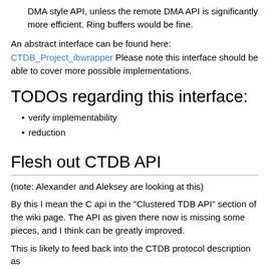DMA style API, unless the remote DMA API is significantly more efficient. Ring buffers would be fine.
An abstract interface can be found here:
CTDB_Project_ibwrapper Please note this interface should be able to cover more possible implementations.
TODOs regarding this interface:
verify implementability
reduction
Flesh out CTDB API
(note: Alexander and Aleksey are looking at this)
By this I mean the C api in the "Clustered TDB API" section of the wiki page. The API as given there now is missing some pieces, and I think can be greatly improved.
This is likely to feed back into the CTDB protocol description as